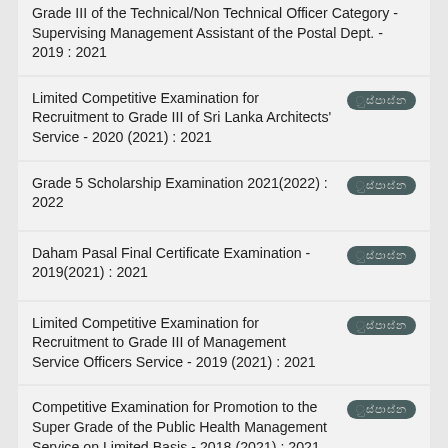Grade III of the Technical/Non Technical Officer Category - Supervising Management Assistant of the Postal Dept. - 2019 : 2021
Limited Competitive Examination for Recruitment to Grade III of Sri Lanka Architects' Service - 2020 (2021) : 2021
Grade 5 Scholarship Examination 2021(2022) : 2022
Daham Pasal Final Certificate Examination - 2019(2021) : 2021
Limited Competitive Examination for Recruitment to Grade III of Management Service Officers Service - 2019 (2021) : 2021
Competitive Examination for Promotion to the Super Grade of the Public Health Management Service on Limited Basis - 2018 (2021) : 2021